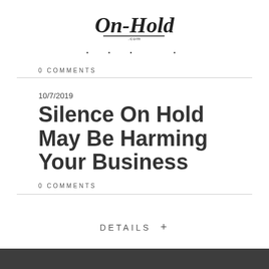[Figure (logo): On-Hold.com handwritten script logo]
· · ·   ·
0 COMMENTS
10/7/2019
Silence On Hold May Be Harming Your Business
0 COMMENTS
DETAILS +